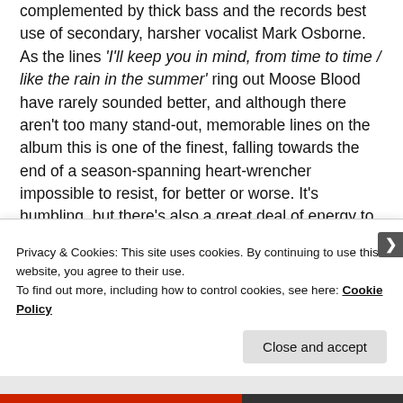complemented by thick bass and the records best use of secondary, harsher vocalist Mark Osborne. As the lines 'I'll keep you in mind, from time to time / like the rain in the summer' ring out Moose Blood have rarely sounded better, and although there aren't too many stand-out, memorable lines on the album this is one of the finest, falling towards the end of a season-spanning heart-wrencher impossible to resist, for better or worse. It's humbling, but there's also a great deal of energy to it, and this balance is another of the records stronger aspects; it's anthemic, but it's grounding also. Listening to it, it's an experience, and as you reach the final minute of the last song, acoustic like the album
Privacy & Cookies: This site uses cookies. By continuing to use this website, you agree to their use.
To find out more, including how to control cookies, see here: Cookie Policy